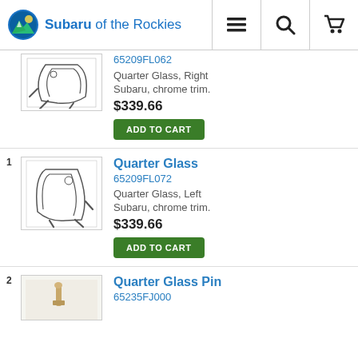Subaru of the Rockies
[Figure (illustration): Quarter Glass part diagram, right side, line drawing]
65209FL062
Quarter Glass, Right
Subaru, chrome trim.
$339.66
Quarter Glass
65209FL072
[Figure (illustration): Quarter Glass part diagram, left side, line drawing]
Quarter Glass, Left
Subaru, chrome trim.
$339.66
Quarter Glass Pin
65235FJ000
[Figure (photo): Quarter Glass Pin part photo]